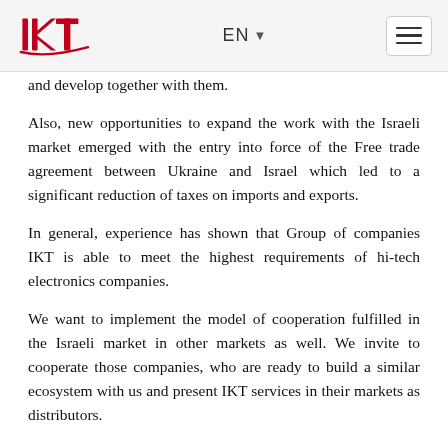IKT logo | EN | hamburger menu
and develop together with them.
Also, new opportunities to expand the work with the Israeli market emerged with the entry into force of the Free trade agreement between Ukraine and Israel which led to a significant reduction of taxes on imports and exports.
In general, experience has shown that Group of companies IKT is able to meet the highest requirements of hi-tech electronics companies.
We want to implement the model of cooperation fulfilled in the Israeli market in other markets as well. We invite to cooperate those companies, who are ready to build a similar ecosystem with us and present IKT services in their markets as distributors.
To discuss cooperation, please email to svolevak@ictech.com.ua.